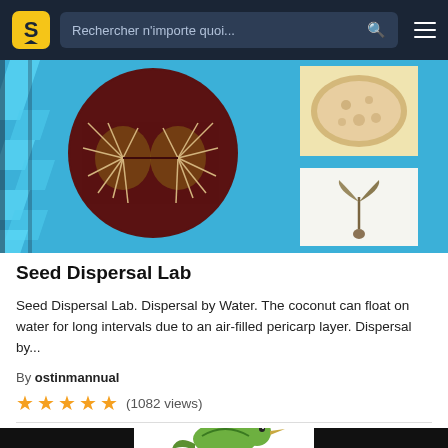Rechercher n'importe quoi...
[Figure (photo): Seed Dispersal Lab thumbnail showing a dark circular cross-section with white fibrous coconut interior, a tan coconut exterior image, and a seedling sprout image on blue background]
Seed Dispersal Lab
Seed Dispersal Lab. Dispersal by Water. The coconut can float on water for long intervals due to an air-filled pericarp layer. Dispersal by...
By ostinmannual
★★★★★ (1082 views)
[Figure (photo): A green bird perched on a branch, shown on a dark/black background — thumbnail for a second document]